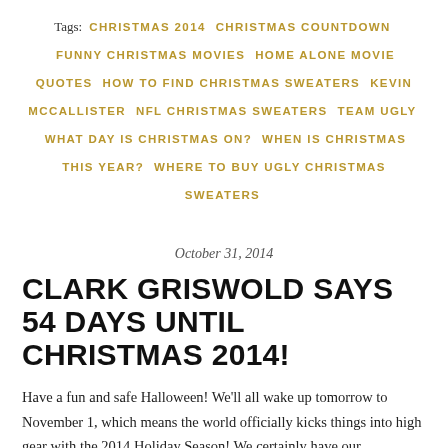Tags: CHRISTMAS 2014   CHRISTMAS COUNTDOWN   FUNNY CHRISTMAS MOVIES   HOME ALONE MOVIE QUOTES   HOW TO FIND CHRISTMAS SWEATERS   KEVIN MCCALLISTER   NFL CHRISTMAS SWEATERS   TEAM UGLY   WHAT DAY IS CHRISTMAS ON?   WHEN IS CHRISTMAS THIS YEAR?   WHERE TO BUY UGLY CHRISTMAS SWEATERS
October 31, 2014
CLARK GRISWOLD SAYS 54 DAYS UNTIL CHRISTMAS 2014!
Have a fun and safe Halloween! We'll all wake up tomorrow to November 1, which means the world officially kicks things into high gear with the 2014 Holiday Season! We certainly have our